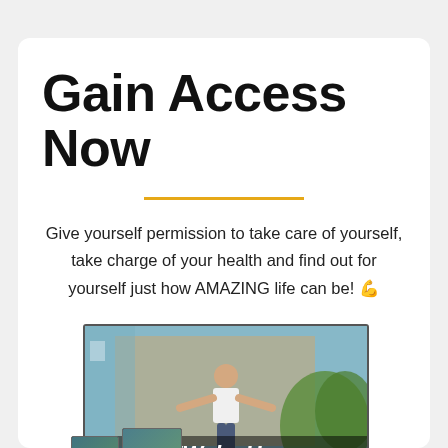Gain Access Now
Give yourself permission to take care of yourself, take charge of your health and find out for yourself just how AMAZING life can be! 💪
[Figure (photo): A man standing outdoors with arms outstretched, with a 'Wake Up' text overlay and small device thumbnails in the lower left corner]